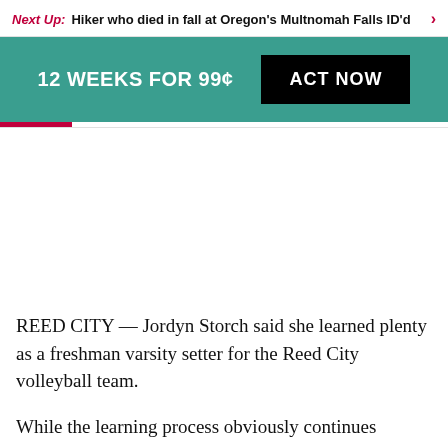Next Up: Hiker who died in fall at Oregon's Multnomah Falls ID'd
12 WEEKS FOR 99¢   ACT NOW
REED CITY — Jordyn Storch said she learned plenty as a freshman varsity setter for the Reed City volleyball team.
While the learning process obviously continues